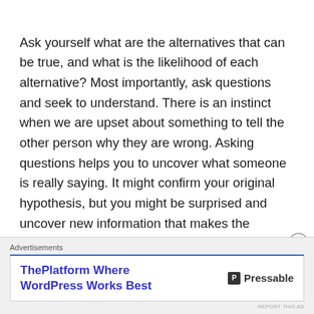Ask yourself what are the alternatives that can be true, and what is the likelihood of each alternative? Most importantly, ask questions and seek to understand. There is an instinct when we are upset about something to tell the other person why they are wrong. Asking questions helps you to uncover what someone is really saying. It might confirm your original hypothesis, but you might be surprised and uncover new information that makes the conversation much easier to have.
Advertisements
[Figure (other): Advertisement banner for Pressable: 'ThePlatform Where WordPress Works Best' with Pressable logo]